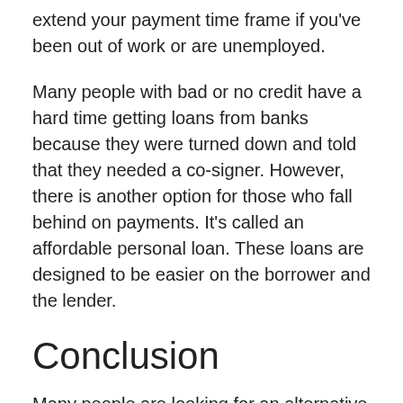extend your payment time frame if you've been out of work or are unemployed.
Many people with bad or no credit have a hard time getting loans from banks because they were turned down and told that they needed a co-signer. However, there is another option for those who fall behind on payments. It's called an affordable personal loan. These loans are designed to be easier on the borrower and the lender.
Conclusion
Many people are looking for an alternative to traditional bank loans. For example, students or those who have bad credit can obtain a personal loan with ease and at a lower price by using this service. With its low interest rates, no collateral requirements and flexible repayment plans, it's understandable that this service is becoming more popular